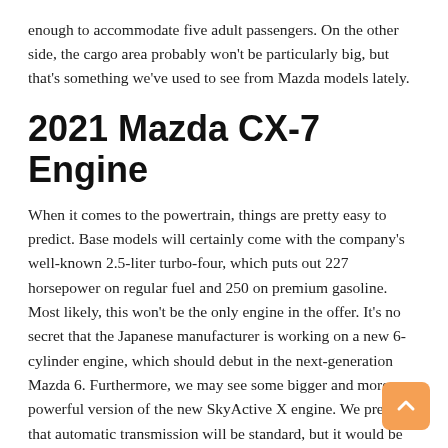enough to accommodate five adult passengers. On the other side, the cargo area probably won't be particularly big, but that's something we've used to see from Mazda models lately.
2021 Mazda CX-7 Engine
When it comes to the powertrain, things are pretty easy to predict. Base models will certainly come with the company's well-known 2.5-liter turbo-four, which puts out 227 horsepower on regular fuel and 250 on premium gasoline. Most likely, this won't be the only engine in the offer. It's no secret that the Japanese manufacturer is working on a new 6-cylinder engine, which should debut in the next-generation Mazda 6. Furthermore, we may see some bigger and more powerful version of the new SkyActive X engine. We presume that automatic transmission will be standard, but it would be great to see Mazda's excellent manual gearbox in the offer as well.